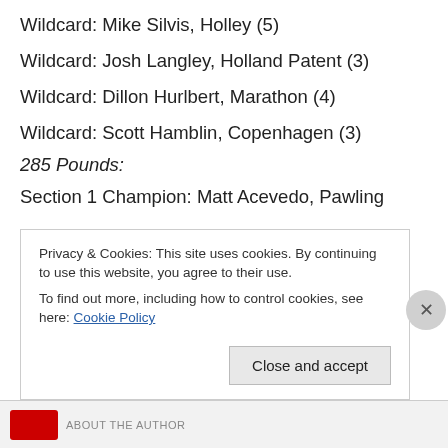Wildcard: Mike Silvis, Holley (5)
Wildcard: Josh Langley, Holland Patent (3)
Wildcard: Dillon Hurlbert, Marathon (4)
Wildcard: Scott Hamblin, Copenhagen (3)
285 Pounds:
Section 1 Champion: Matt Acevedo, Pawling
Privacy & Cookies: This site uses cookies. By continuing to use this website, you agree to their use.
To find out more, including how to control cookies, see here: Cookie Policy
Close and accept